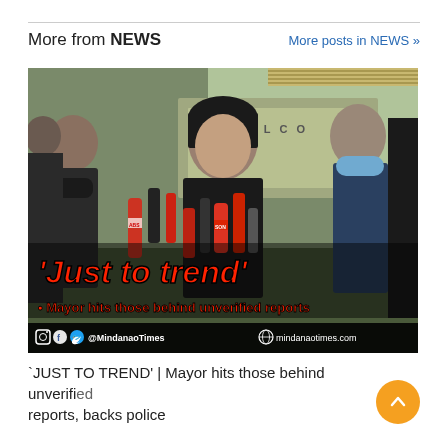More from NEWS
More posts in NEWS »
[Figure (photo): News video thumbnail showing a man in black shirt speaking to press with microphones, surrounded by people wearing masks. Red overlay text reads 'Just to trend' and 'Mayor hits those behind unverified reports'. Times newspaper logo in top left, Mindanao Times social media handles and website at bottom.]
'JUST TO TREND' | Mayor hits those behind unverified reports, backs police